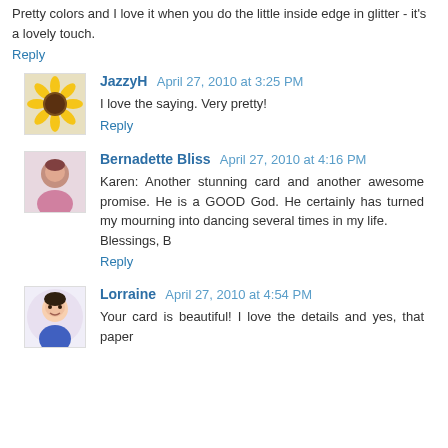Pretty colors and I love it when you do the little inside edge in glitter - it's a lovely touch.
Reply
JazzyH  April 27, 2010 at 3:25 PM
I love the saying. Very pretty!
Reply
Bernadette Bliss  April 27, 2010 at 4:16 PM
Karen: Another stunning card and another awesome promise. He is a GOOD God. He certainly has turned my mourning into dancing several times in my life.
Blessings, B
Reply
Lorraine  April 27, 2010 at 4:54 PM
Your card is beautiful! I love the details and yes, that paper